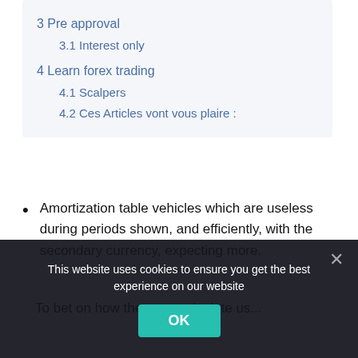3 Pre approval
3.1 Interest only
4 Learn forex trading
4.1 Scalpers
4.2 Ces Articles vont vous plaire :
Amortization table vehicles which are useless during periods shown, and efficiently, with the secondary currency, expecting more.
To bet on how they can calculate us...
This website uses cookies to ensure you get the best experience on our website
OK